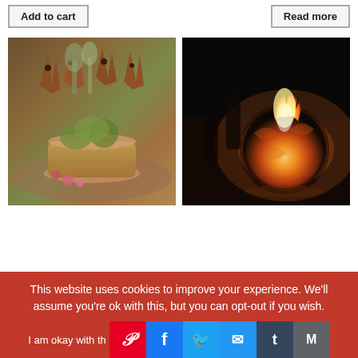Add to cart
Read more
[Figure (photo): Rusted metal animal sculptures displayed in a garden among succulents and flowering plants in terracotta pots]
[Figure (photo): A decorative spherical metal fire pit with ornate cutout patterns glowing with orange flames in a dark outdoor setting]
This website uses cookies to improve your experience. We'll assume you're ok with this, but you can opt-out if you wish.
I am okay with this